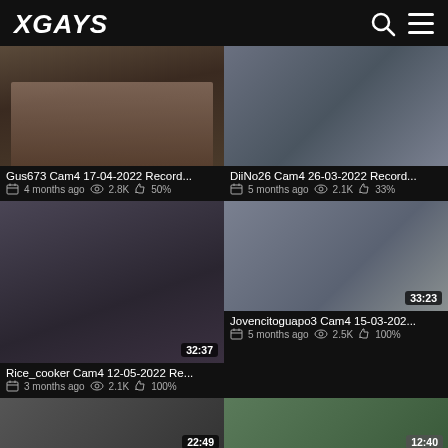XGAYS
[Figure (photo): Video thumbnail - Gus673 Cam4 recording, no duration shown]
Gus673 Cam4 17-04-2022 Record...
4 months ago  2.8K  50%
[Figure (photo): Video thumbnail - DiiNo26 Cam4 recording, no duration shown]
DiiNo26 Cam4 26-03-2022 Record...
5 months ago  2.1K  33%
[Figure (photo): Video thumbnail - Rice_cooker Cam4 recording, duration 32:37]
Rice_cooker Cam4 12-05-2022 Re...
3 months ago  2.1K  100%
[Figure (photo): Video thumbnail - Jovencitoguapo3 Cam4 recording, duration 33:23]
Jovencitoguapo3 Cam4 15-03-202...
5 months ago  2.5K  100%
[Figure (photo): Video thumbnail partial - duration 22:49]
[Figure (photo): Video thumbnail partial - duration 12:40]